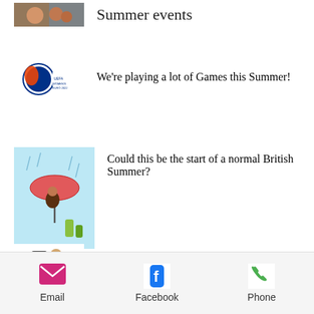Summer events
[Figure (photo): Partial thumbnail of people at a summer event]
We're playing a lot of Games this Summer!
[Figure (logo): UEFA Women's Euro 2022 England logo]
Could this be the start of a normal British Summer?
[Figure (illustration): Illustration of a person with an umbrella in the rain on a blue background]
Thank goodness for the cooler Weather!!
[Figure (illustration): Illustration of people with a phone or device]
Email   Facebook   Phone